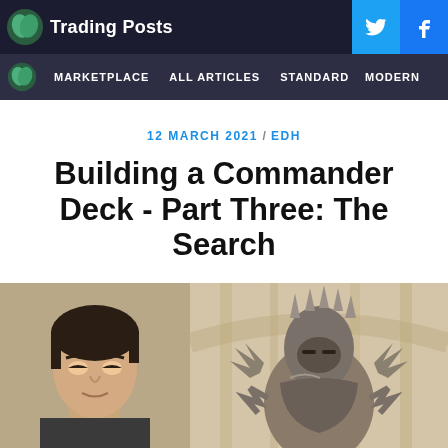Trading Posts
MARKETPLACE  ALL ARTICLES  STANDARD  MODERN
12 MARCH 2021 / EDH
Building a Commander Deck - Part Three: The Search
[Figure (photo): Left: author headshot of young man with dark hair. Right: Magic: The Gathering card art showing an armored knight/warrior figure with spiky metal armor standing in an ornate architectural setting.]